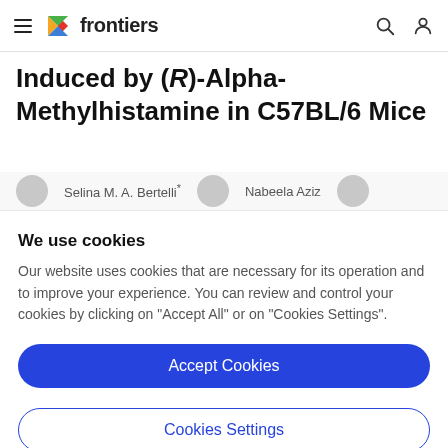frontiers
Induced by (R)-Alpha-Methylhistamine in C57BL/6 Mice
Selina M. A. Bertelli* ... Nabeela Aziz ...
We use cookies
Our website uses cookies that are necessary for its operation and to improve your experience. You can review and control your cookies by clicking on "Accept All" or on "Cookies Settings".
Accept Cookies
Cookies Settings